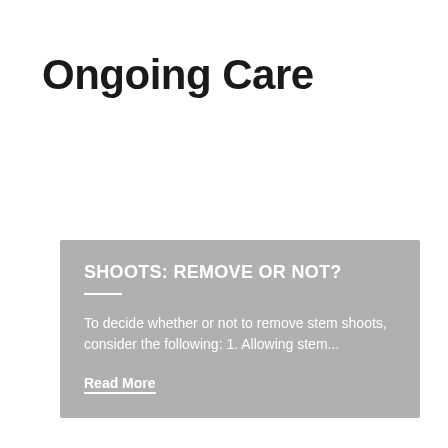Ongoing Care
SHOOTS: REMOVE OR NOT?
To decide whether or not to remove stem shoots, consider the following: 1. Allowing stem...
Read More